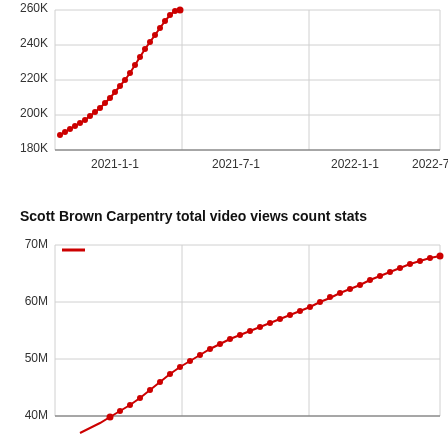[Figure (continuous-plot): Top portion of a line chart showing subscriber count over time from 2021-1-1 to 2022-7-1, with y-axis ranging from 180K to 260K. Red line with data points rising steeply from ~190K in early 2021 to ~260K around mid-2021, then flat with no data past that point.]
Scott Brown Carpentry total video views count stats
[Figure (continuous-plot): Bottom portion of a line chart showing total video views count over time. Y-axis shows 40M, 50M, 60M, 70M. Red line with data points rising from ~40M in early 2021 area to ~68M at the far right (2022-7-1 area). A red legend line segment is visible near 70M label at top left.]